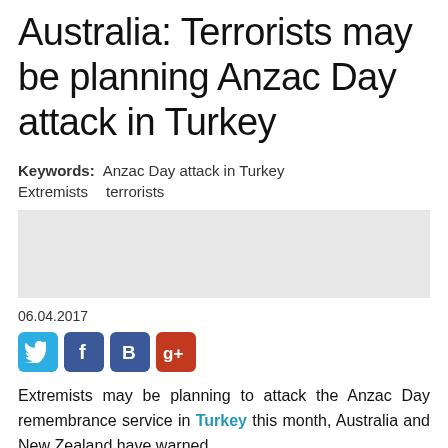Australia: Terrorists may be planning Anzac Day attack in Turkey
Keywords: Anzac Day attack in Turkey Extremists terrorists
[Figure (other): Gray placeholder advertisement or image box]
06.04.2017
[Figure (infographic): Social media share buttons: Twitter (blue), Facebook (blue), B (dark blue), Google+ (red)]
Extremists may be planning to attack the Anzac Day remembrance service in Turkey this month, Australia and New Zealand have warned.